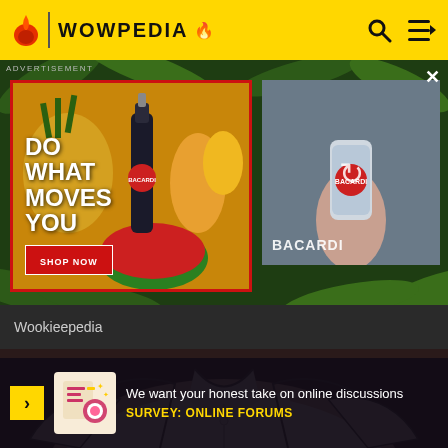WOWPEDIA
[Figure (screenshot): Bacardi advertisement with tropical fruits background, bottle of Bacardi rum, text 'DO WHAT MOVES YOU', red 'SHOP NOW' button, and a secondary loading ad panel showing Bacardi can]
ADVERTISEMENT
Wookieepedia
[Figure (illustration): Cartoon/illustrated character in white polo shirt, close-up torso view]
We want your honest take on online discussions
SURVEY: ONLINE FORUMS